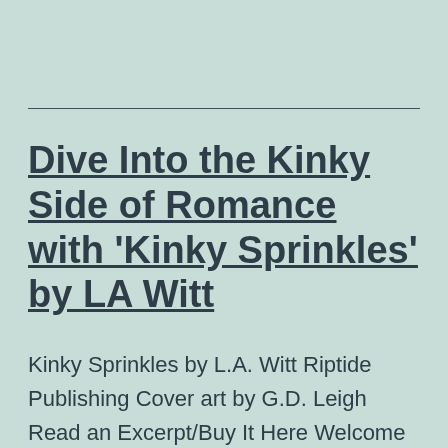Dive Into the Kinky Side of Romance with 'Kinky Sprinkles' by LA Witt
Kinky Sprinkles by L.A. Witt Riptide Publishing Cover art by G.D. Leigh Read an Excerpt/Buy It Here Welcome to the Riptide Publishing/L. A. Witt blog tour for Kinky Sprinkles! Every